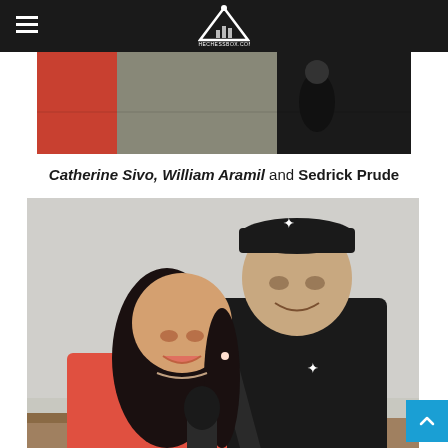TheChessBox.com header with hamburger menu and logo
[Figure (photo): Top cropped photo showing people in a room, partial view]
Catherine Sivo, William Aramil and Sedrick Prude
[Figure (photo): A smiling Asian woman in a red/coral top and a tall man in a black polo shirt and black Jordan brand baseball cap, posing together indoors]